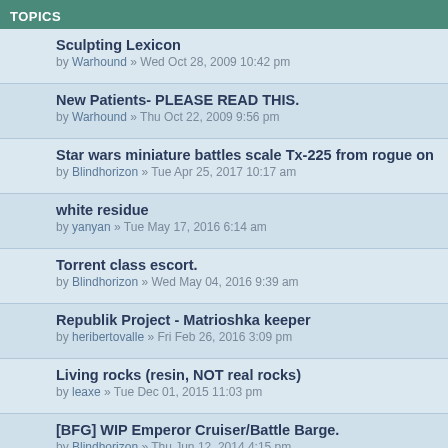TOPICS
Sculpting Lexicon
by Warhound » Wed Oct 28, 2009 10:42 pm
New Patients- PLEASE READ THIS.
by Warhound » Thu Oct 22, 2009 9:56 pm
Star wars miniature battles scale Tx-225 from rogue on
by Blindhorizon » Tue Apr 25, 2017 10:17 am
white residue
by yanyan » Tue May 17, 2016 6:14 am
Torrent class escort.
by Blindhorizon » Wed May 04, 2016 9:39 am
Republik Project - Matrioshka keeper
by heribertovalle » Fri Feb 26, 2016 3:09 pm
Living rocks (resin, NOT real rocks)
by leaxe » Tue Dec 01, 2015 11:03 pm
[BFG] WIP Emperor Cruiser/Battle Barge.
by Blindhorizon » Thu Jun 12, 2014 4:15 pm
Velvet's Chibis
by Velvet Mark » Mon Feb 09, 2015 9:49 pm
Zeus Weapons Modules
by mangozac » Tue Jan 27, 2015 9:47 pm